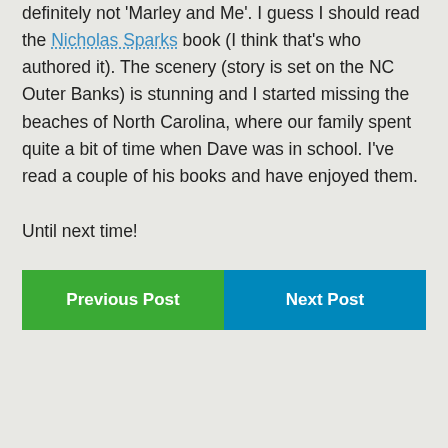definitely not 'Marley and Me'. I guess I should read the Nicholas Sparks book (I think that's who authored it). The scenery (story is set on the NC Outer Banks) is stunning and I started missing the beaches of North Carolina, where our family spent quite a bit of time when Dave was in school. I've read a couple of his books and have enjoyed them.
Until next time!
Previous Post | Next Post